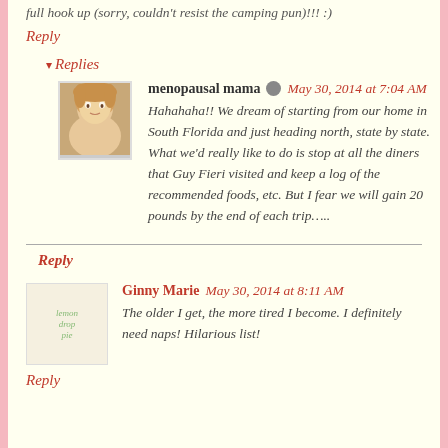full hook up (sorry, couldn't resist the camping pun)!!! :)
Reply
Replies
menopausal mama  May 30, 2014 at 7:04 AM
Hahahaha!! We dream of starting from our home in South Florida and just heading north, state by state. What we'd really like to do is stop at all the diners that Guy Fieri visited and keep a log of the recommended foods, etc. But I fear we will gain 20 pounds by the end of each trip…..
Reply
Ginny Marie  May 30, 2014 at 8:11 AM
The older I get, the more tired I become. I definitely need naps! Hilarious list!
Reply